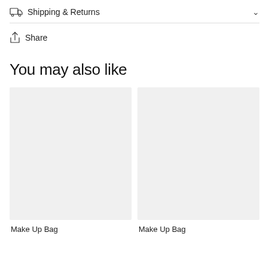Shipping & Returns
Share
You may also like
[Figure (photo): Gray placeholder image for Make Up Bag product card (left)]
Make Up Bag
[Figure (photo): Gray placeholder image for Make Up Bag product card (right)]
Make Up Bag